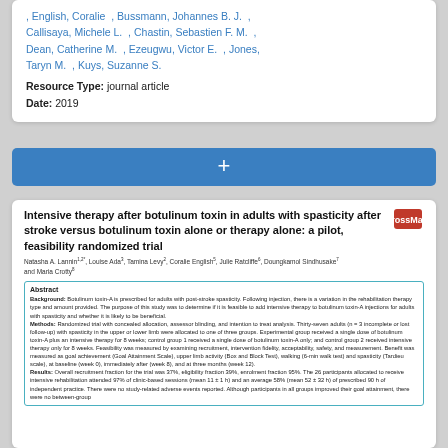, English, Coralie , Bussmann, Johannes B. J. , Callisaya, Michele L. , Chastin, Sebastien F. M. , Dean, Catherine M. , Ezeugwu, Victor E. , Jones, Taryn M. , Kuys, Suzanne S.
Resource Type: journal article
Date: 2019
[Figure (other): Blue button with a plus (+) sign for adding items]
Intensive therapy after botulinum toxin in adults with spasticity after stroke versus botulinum toxin alone or therapy alone: a pilot, feasibility randomized trial
Natasha A. Lannin, Louise Ada, Tamina Levy, Coralie English, Julie Ratcliffe, Doungkamol Sindhusake and Maria Crotty
Abstract
Background: Botulinum toxin-A is prescribed for adults with post-stroke spasticity. Following injection, there is a variation in the rehabilitation therapy type and amount provided. The purpose of this study was to determine if it is feasible to add intensive therapy to botulinum toxin-A injections for adults with spasticity and whether it is likely to be beneficial.
Methods: Randomized trial with concealed allocation, assessor blinding, and intention to treat analysis. Thirty-seven adults (n = 3 incomplete or lost follow-up) with spasticity in the upper or lower limb were allocated to one of three groups. Experimental group received a single dose of botulinum toxin-A plus an intensive therapy for 8 weeks; control group 1 received a single dose of botulinum toxin-A only; and control group 2 received intensive therapy only for 8 weeks. Feasibility was measured by examining recruitment, intervention fidelity, acceptability, safety, and measurement. Benefit was measured as goal achievement (Goal Attainment Scale), upper limb activity (Box and Block Test), walking (6-min walk test) and spasticity (Tardieu scale), at baseline (week 0), immediately after (week 8), and at three months (week 12).
Results: Overall recruitment fraction for the trial was 37%, eligibility fraction 39%, enrolment fraction 95%. The 26 participants allocated to receive intensive rehabilitation attended 97% of clinic-based sessions (mean 11 ± 1h) and on average 58% (mean 52 ± 32h) of prescribed 90h of independent practice. There were no study-related adverse events reported. Although participants in all groups improved their goal attainment, there were no between-group